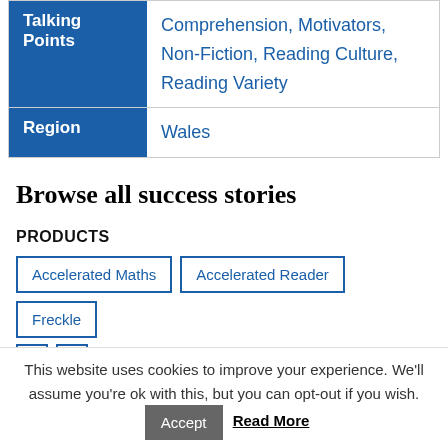| Talking Points | Comprehension, Motivators, Non-Fiction, Reading Culture, Reading Variety |
| Region | Wales |
Browse all success stories
PRODUCTS
Accelerated Maths
Accelerated Reader
Freckle
This website uses cookies to improve your experience. We'll assume you're ok with this, but you can opt-out if you wish. Accept Read More